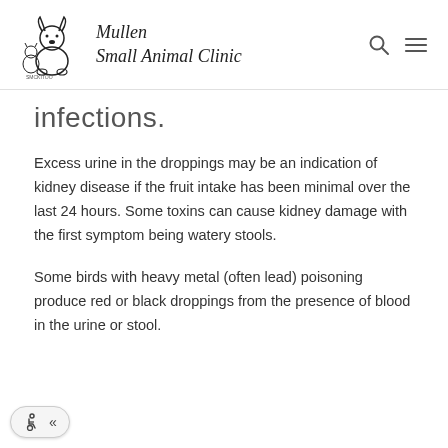Mullen Small Animal Clinic
infections.
Excess urine in the droppings may be an indication of kidney disease if the fruit intake has been minimal over the last 24 hours. Some toxins can cause kidney damage with the first symptom being watery stools.
Some birds with heavy metal (often lead) poisoning produce red or black droppings from the presence of blood in the urine or stool.